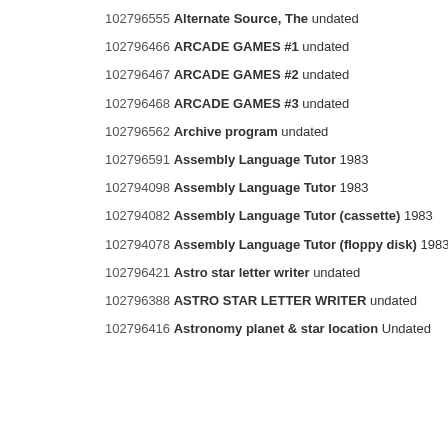102796555 Alternate Source, The undated
102796466 ARCADE GAMES #1 undated
102796467 ARCADE GAMES #2 undated
102796468 ARCADE GAMES #3 undated
102796562 Archive program undated
102796591 Assembly Language Tutor 1983
102794098 Assembly Language Tutor 1983
102794082 Assembly Language Tutor (cassette) 1983
102794078 Assembly Language Tutor (floppy disk) 1983
102796421 Astro star letter writer undated
102796388 ASTRO STAR LETTER WRITER undated
102796416 Astronomy planet & star location Undated